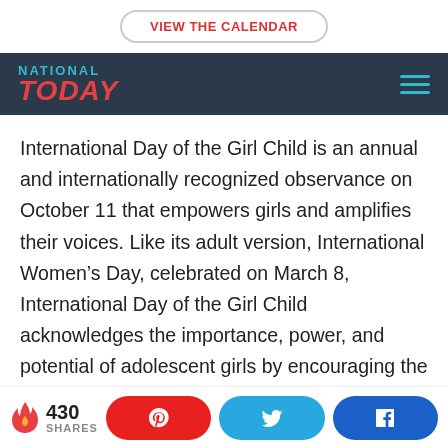VIEW THE CALENDAR
[Figure (logo): National Today logo on dark navy background with hamburger menu icon]
International Day of the Girl Child is an annual and internationally recognized observance on October 11 that empowers girls and amplifies their voices. Like its adult version, International Women's Day, celebrated on March 8, International Day of the Girl Child acknowledges the importance, power, and potential of adolescent girls by encouraging the opening up of more opportunities for them. At
430 SHARES